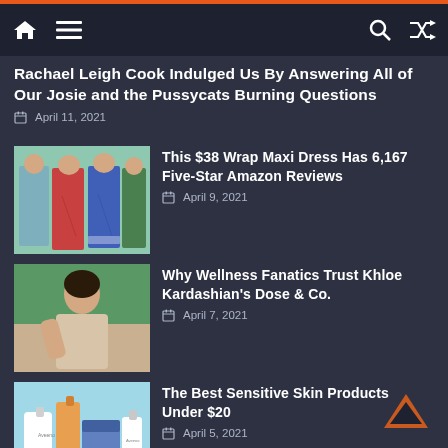Navigation bar with home, menu, search, and shuffle icons
Rachael Leigh Cook Indulged Us By Answering All of Our Josie and the Pussycats Burning Questions
April 11, 2021
[Figure (photo): Women in colorful wrap maxi dresses]
This $38 Wrap Maxi Dress Has 6,167 Five-Star Amazon Reviews
April 9, 2021
[Figure (photo): Woman posing outdoors near water]
Why Wellness Fanatics Trust Khloe Kardashian's Dose & Co.
April 7, 2021
[Figure (photo): Aveeno skincare products on blue background]
The Best Sensitive Skin Products Under $20
April 5, 2021